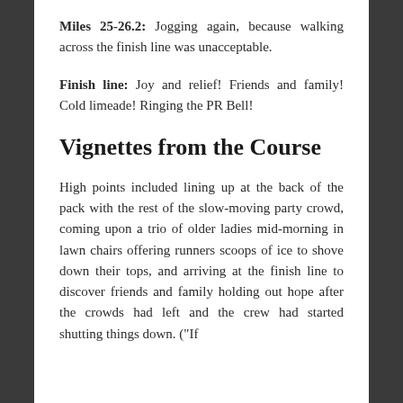Miles 25-26.2: Jogging again, because walking across the finish line was unacceptable.
Finish line: Joy and relief! Friends and family! Cold limeade! Ringing the PR Bell!
Vignettes from the Course
High points included lining up at the back of the pack with the rest of the slow-moving party crowd, coming upon a trio of older ladies mid-morning in lawn chairs offering runners scoops of ice to shove down their tops, and arriving at the finish line to discover friends and family holding out hope after the crowds had left and the crew had started shutting things down. ("If